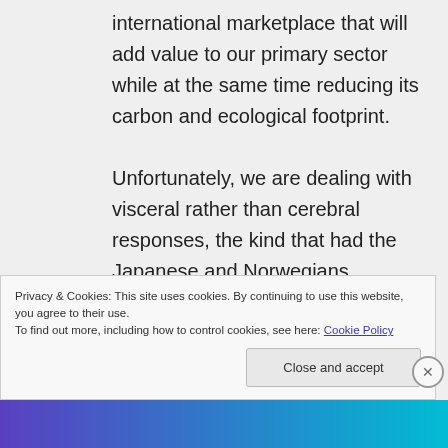international marketplace that will add value to our primary sector while at the same time reducing its carbon and ecological footprint.

Unfortunately, we are dealing with visceral rather than cerebral responses, the kind that had the Japanese and Norwegians promoting the killing of whales long after there was any rational basis
Privacy & Cookies: This site uses cookies. By continuing to use this website, you agree to their use.
To find out more, including how to control cookies, see here: Cookie Policy
Close and accept